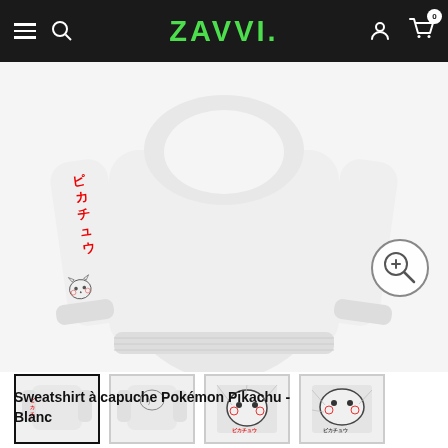ZAVVI. (logo)
[Figure (photo): White Pokémon Pikachu hoodie sweatshirt displayed from the back, showing red Japanese katakana (ピカチュウ) text down the left sleeve and a small Pikachu graphic near the cuff]
[Figure (photo): Thumbnail 1: Back view of white Pikachu hoodie with red Japanese text on sleeve - currently selected]
[Figure (photo): Thumbnail 2: Front view of white Pikachu hoodie]
[Figure (photo): Thumbnail 3: Close-up of Pikachu graphic with Japanese text ピカチュウ in red]
[Figure (photo): Thumbnail 4: Close-up manga-style Pikachu graphic with ピカチュウ text]
Sweatshirt à capuche Pokémon Pikachu - Blanc